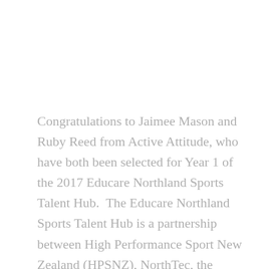Congratulations to Jaimee Mason and Ruby Reed from Active Attitude, who have both been selected for Year 1 of the 2017 Educare Northland Sports Talent Hub.  The Educare Northland Sports Talent Hub is a partnership between High Performance Sport New Zealand (HPSNZ), NorthTec, the Kauri Club, Sport Northland and major sponsor Educare to provide support services to talented local athletes in the pre-high performance phase of their sporting pathway.
Each year, up to 15 additional Northland athletes are selected to join those in the national Pathway to Podium